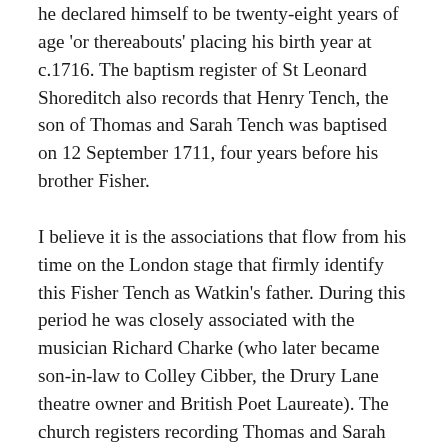he declared himself to be twenty-eight years of age 'or thereabouts' placing his birth year at c.1716. The baptism register of St Leonard Shoreditch also records that Henry Tench, the son of Thomas and Sarah Tench was baptised on 12 September 1711, four years before his brother Fisher.
I believe it is the associations that flow from his time on the London stage that firmly identify this Fisher Tench as Watkin's father. During this period he was closely associated with the musician Richard Charke (who later became son-in-law to Colley Cibber, the Drury Lane theatre owner and British Poet Laureate). The church registers recording Thomas and Sarah Tench's marriage show Sarah's maiden name as Chalke, a likely misspelling of Charke, and if so, Richard Charke is possibly a relative. Fisher and Margaret Tench later used this name when